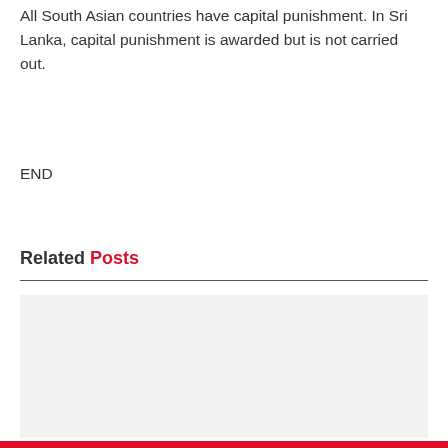All South Asian countries have capital punishment. In Sri Lanka, capital punishment is awarded but is not carried out.
END
Related Posts
[Figure (photo): Light gray placeholder image area below the Related Posts section header]